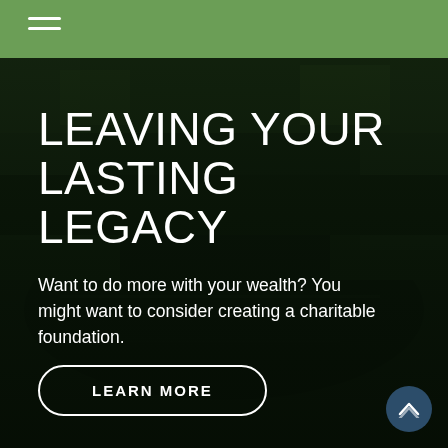[Figure (photo): Aerial view of a forested lake with dark water and dense green trees lining the shores, shot at dusk or with dark moody lighting.]
LEAVING YOUR LASTING LEGACY
Want to do more with your wealth? You might want to consider creating a charitable foundation.
LEARN MORE